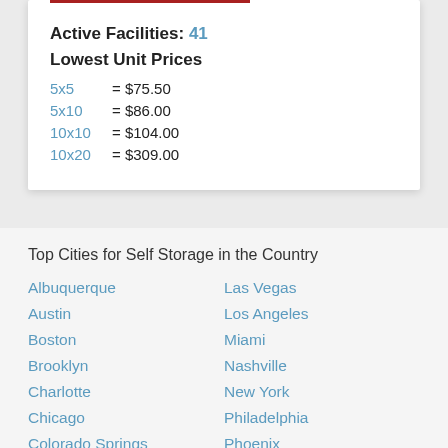Active Facilities: 41
Lowest Unit Prices
5x5 = $75.50
5x10 = $86.00
10x10 = $104.00
10x20 = $309.00
Top Cities for Self Storage in the Country
Albuquerque
Austin
Boston
Brooklyn
Charlotte
Chicago
Colorado Springs
Las Vegas
Los Angeles
Miami
Nashville
New York
Philadelphia
Phoenix